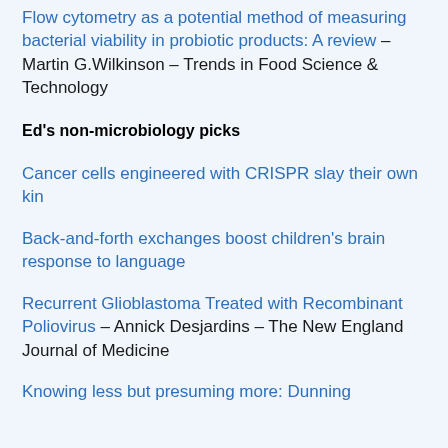Flow cytometry as a potential method of measuring bacterial viability in probiotic products: A review – Martin G.Wilkinson – Trends in Food Science & Technology
Ed's non-microbiology picks
Cancer cells engineered with CRISPR slay their own kin
Back-and-forth exchanges boost children's brain response to language
Recurrent Glioblastoma Treated with Recombinant Poliovirus – Annick Desjardins – The New England Journal of Medicine
Knowing less but presuming more: Dunning